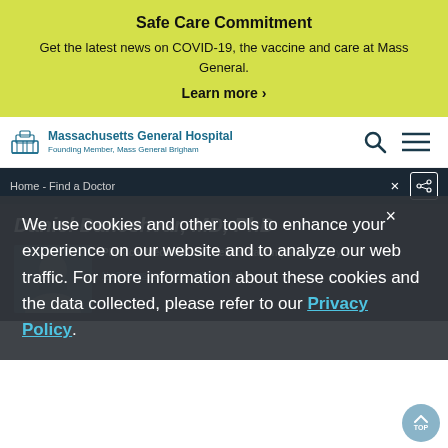Safe Care Commitment
Get the latest news on COVID-19, the vaccine and care at Mass General.
Learn more ›
[Figure (logo): Massachusetts General Hospital logo with building icon]
Massachusetts General Hospital
Founding Member, Mass General Brigham
Home -  Find a Doctor
Daniel Daneshvar, MD, PhD
We use cookies and other tools to enhance your experience on our website and to analyze our web traffic. For more information about these cookies and the data collected, please refer to our Privacy Policy.
Physical Medicine and Rehabilitation | Brain Injury
No Ratings Available - Why Not?